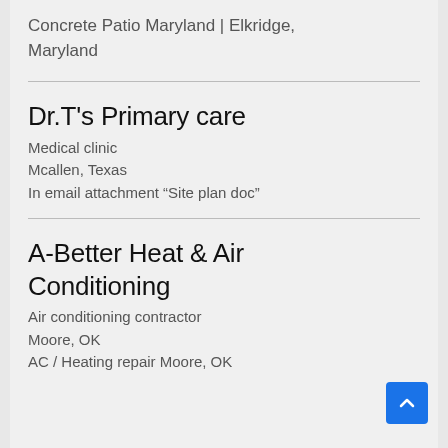Concrete Patio Maryland | Elkridge, Maryland
Dr.T's Primary care
Medical clinic
Mcallen, Texas
In email attachment “Site plan doc”
A-Better Heat & Air Conditioning
Air conditioning contractor
Moore, OK
AC / Heating repair Moore, OK